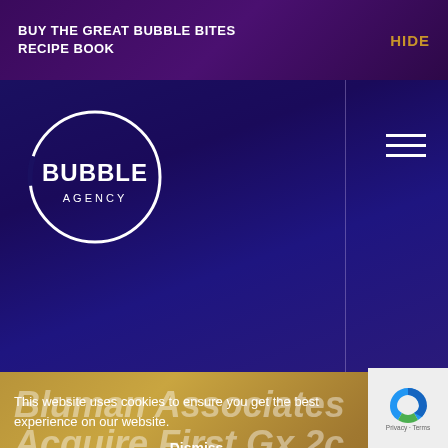BUY THE GREAT BUBBLE BITES RECIPE BOOK
HIDE
[Figure (logo): Bubble Agency logo: white circle outline with 'BUBBLE' in bold white text and 'AGENCY' below in smaller white text]
Bluman Associates Acquire First Gx 2c Media Servers
This website uses cookies to ensure you get the best experience on our website.
Dismiss